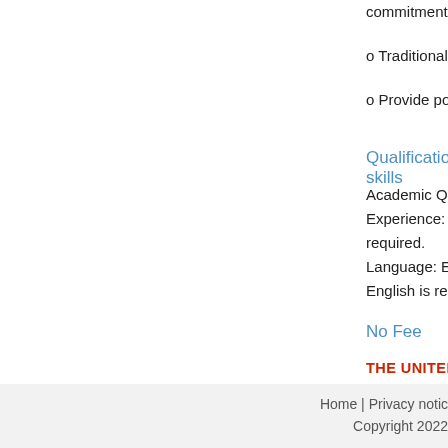commitments of consultant's. This is including, but n
o Traditional media coverage capture and summary
o Provide post-meeting media support
Qualifications/special skills
Academic Qualifications: University degree in journa
Experience: A minimum of twenty years' experience
required.
Language: English and French are the working lang
English is required.
No Fee
THE UNITED NATIONS DOES NOT CHARGE
(APPLICATION, INTERVIEW MEETING, PROCE
CONCERN ITSELF WITH INFORMATION ON APP
Sorry, this job
Home | Privacy notic
Copyright 2022